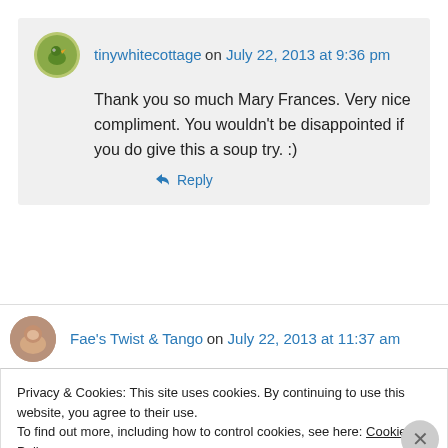tinywhitecottage on July 22, 2013 at 9:36 pm
Thank you so much Mary Frances. Very nice compliment. You wouldn't be disappointed if you do give this a soup try. :)
↳ Reply
Fae's Twist & Tango on July 22, 2013 at 11:37 am
Privacy & Cookies: This site uses cookies. By continuing to use this website, you agree to their use.
To find out more, including how to control cookies, see here: Cookie Policy
Close and accept